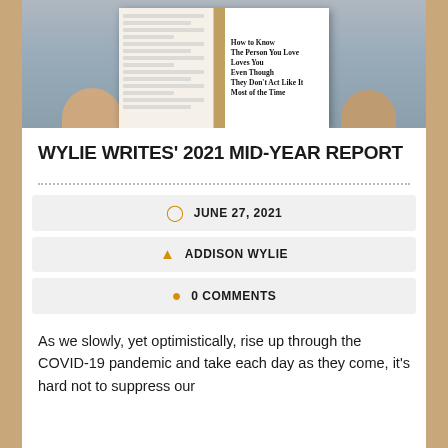[Figure (photo): Person holding open book titled 'How to Know The Person You Love Loves You Even Though They Don't Act Like It Most of the Time']
WYLIE WRITES' 2021 MID-YEAR REPORT
JUNE 27, 2021
ADDISON WYLIE
0 COMMENTS
As we slowly, yet optimistically, rise up through the COVID-19 pandemic and take each day as they come, it’s hard not to suppress our anticipation for the sto... (continues)